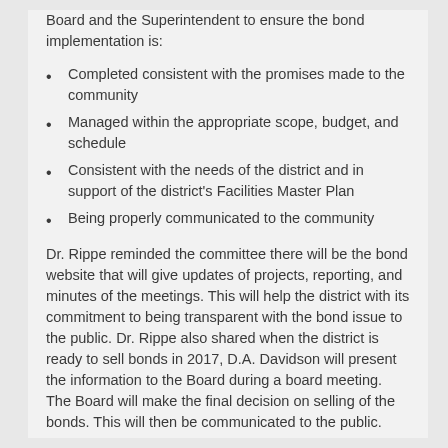Board and the Superintendent to ensure the bond implementation is:
Completed consistent with the promises made to the community
Managed within the appropriate scope, budget, and schedule
Consistent with the needs of the district and in support of the district's Facilities Master Plan
Being properly communicated to the community
Dr. Rippe reminded the committee there will be the bond website that will give updates of projects, reporting, and minutes of the meetings. This will help the district with its commitment to being transparent with the bond issue to the public. Dr. Rippe also shared when the district is ready to sell bonds in 2017, D.A. Davidson will present the information to the Board during a board meeting. The Board will make the final decision on selling of the bonds. This will then be communicated to the public.
Ralph Gladbach shared the complexity of the Bellevue East